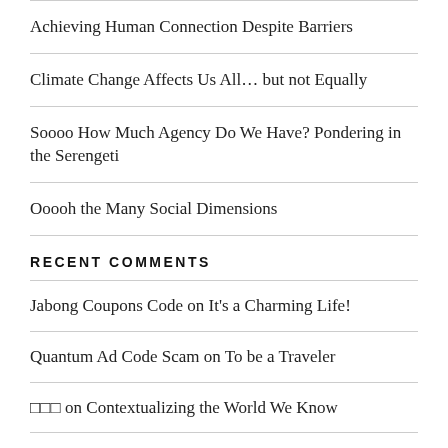Achieving Human Connection Despite Barriers
Climate Change Affects Us All… but not Equally
Soooo How Much Agency Do We Have? Pondering in the Serengeti
Ooooh the Many Social Dimensions
RECENT COMMENTS
Jabong Coupons Code on It's a Charming Life!
Quantum Ad Code Scam on To be a Traveler
□□□ on Contextualizing the World We Know
Next Skin Serum Review on To be a Traveler
things to do in dublin on To be a Traveler